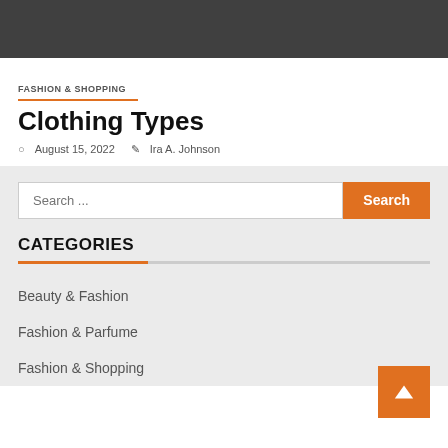[Figure (other): Dark gray header banner at the top of the page]
FASHION & SHOPPING
Clothing Types
August 15, 2022   Ira A. Johnson
[Figure (other): Search bar with text input placeholder 'Search ...' and orange 'Search' button]
CATEGORIES
Beauty & Fashion
Fashion & Parfume
Fashion & Shopping